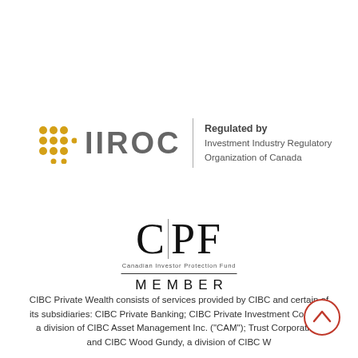[Figure (logo): IIROC logo with gold dot grid pattern, IIROC text in grey, vertical divider, and 'Regulated by Investment Industry Regulatory Organization of Canada' text]
[Figure (logo): CIPF Canadian Investor Protection Fund MEMBER logo]
CIBC Private Wealth consists of services provided by CIBC and certain of its subsidiaries: CIBC Private Banking; CIBC Private Investment Counsel, a division of CIBC Asset Management Inc. ("CAM"); Trust Corporation; and CIBC Wood Gundy, a division of CIBC Wood